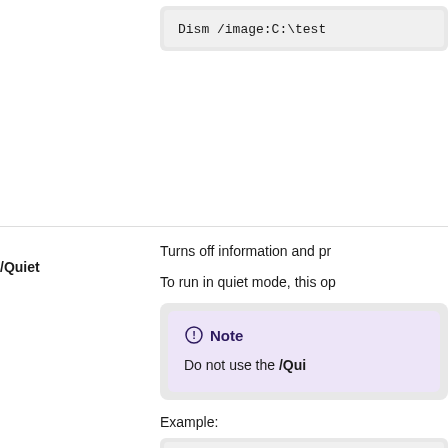Dism /image:C:\test
/Quiet
Turns off information and pr
To run in quiet mode, this op
Note
Do not use the /Qui
Example:
Dism /image:C:\test